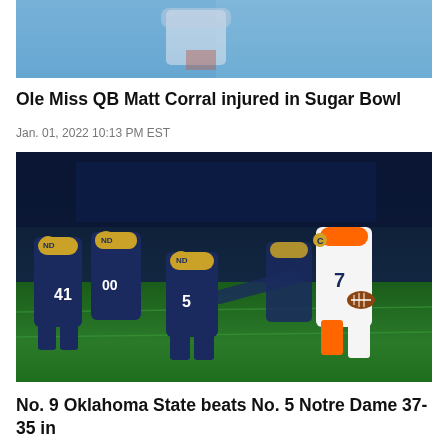[Figure (photo): Partial photo of a football player in blue and white uniform, cropped at top of page]
Ole Miss QB Matt Corral injured in Sugar Bowl
Jan. 01, 2022 10:13 PM EST
[Figure (photo): Football game action photo showing Notre Dame players in navy and gold uniforms attempting to tackle an Oklahoma State player wearing number 7 in white and orange uniform, carrying the ball on a green field]
No. 9 Oklahoma State beats No. 5 Notre Dame 37-35 in